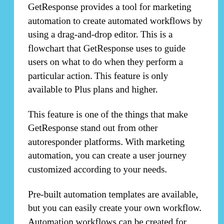GetResponse provides a tool for marketing automation to create automated workflows by using a drag-and-drop editor. This is a flowchart that GetResponse uses to guide users on what to do when they perform a particular action. This feature is only available to Plus plans and higher.
This feature is one of the things that make GetResponse stand out from other autoresponder platforms. With marketing automation, you can create a user journey customized according to your needs.
Pre-built automation templates are available, but you can easily create your own workflow. Automation workflows can be created for lead qualification, retention, engagement, and post-purchase notifications. You can also create abandoned cart triggers. Webinars and online courses are available. Sales promotion is possible.
The marketing automation tools are great for increasing sales